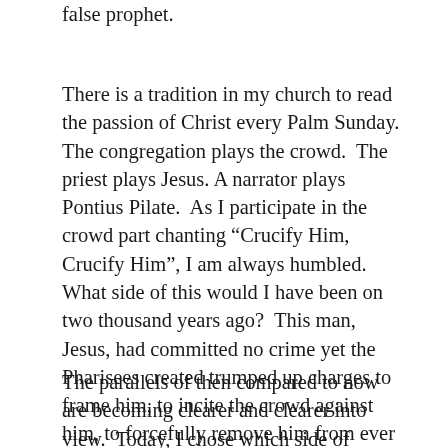falseprophet.
There is a tradition in my church to read the passion of Christ every Palm Sunday. The congregation plays the crowd. The priest plays Jesus. A narrator plays Pontius Pilate. As I participate in the crowd part chanting “Crucify Him, Crucify Him”, I am always humbled. What side of this would I have been on two thousand years ago? This man, Jesus, had committed no crime yet the Pharisees created trumped up charges to frame him, to incite the crowd against him, to forcefully remove him from ever threatening their way of life again.
The parallels of then compared to now are becoming clearer and clearer into view. Today, I chose which side of history I will stand on in my truth and it is in support of Donald Trump. I will not participate in his destruction or